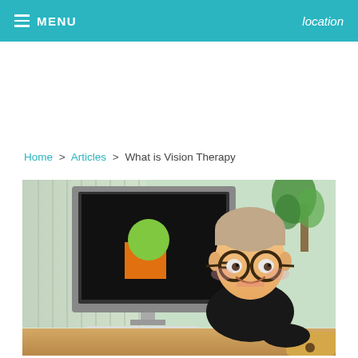MENU   location
Home > Articles > What is Vision Therapy
[Figure (photo): A young child with round glasses sitting at a desk with a computer monitor displaying a green circle and orange square, smiling at the camera in a classroom or therapy setting]